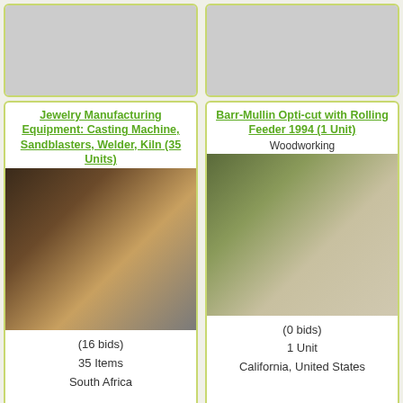[Figure (photo): Top-left card placeholder image (partially visible)]
[Figure (photo): Top-right card placeholder image (partially visible)]
Jewelry Manufacturing Equipment: Casting Machine, Sandblasters, Welder, Kiln (35 Units)
[Figure (photo): Photo of jewelry manufacturing equipment stacked in a room, including white boxes wrapped in plastic]
(16 bids)
35 Items
South Africa
Barr-Mullin Opti-cut with Rolling Feeder 1994 (1 Unit)
Woodworking
[Figure (photo): Photo of a Barr-Mullin Opti-cut machine with rolling feeder, green industrial woodworking equipment]
(0 bids)
1 Unit
California, United States
Cooper Power Systems -200
Unico Generators 2012